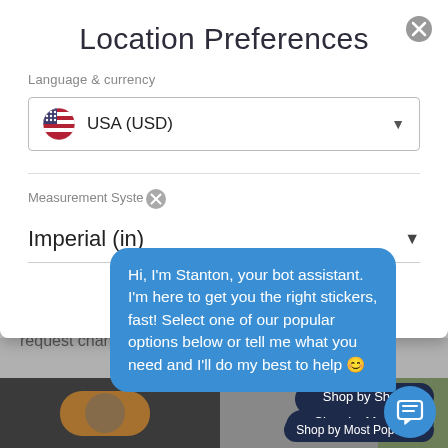[Figure (screenshot): Location Preferences modal dialog overlay on a shopping website with chatbot assistant bubble. Modal shows language & currency set to USA (USD) and Measurement System set to Imperial (in). A blue chat bubble from bot 'Stanton' overlays the modal. Background shows a product image and shop navigation buttons: Shop by Shape, Shop by Material, Shop by Most Popular.]